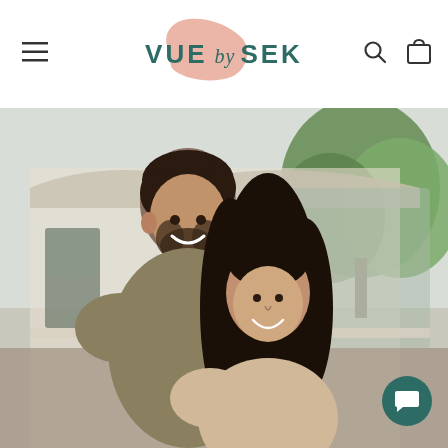VUE by SEK — navigation header with hamburger menu, logo, search and cart icons
[Figure (photo): A smiling couple posing outdoors in front of a house with large windows and green trees in the background. The man has short dark hair and a beard, wearing an olive/khaki sweater. The woman has long dark hair and is leaning against the man, smiling.]